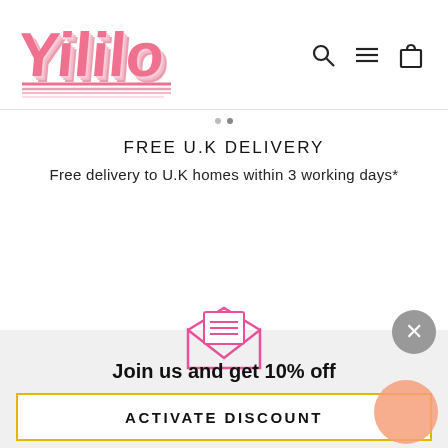[Figure (logo): Yililo brand logo in pink retro lettering with layered pink/coral gradient stripes]
[Figure (infographic): Navigation icons: search magnifier, hamburger menu, shopping bag]
FREE U.K DELIVERY
Free delivery to U.K homes within 3 working days*
[Figure (illustration): Pink envelope icon with lines representing email/newsletter]
[Figure (illustration): Grey circle close (X) button]
Join us and get 10% off
ACTIVATE DISCOUNT
[Figure (illustration): Orange/peach circular chat bubble widget in bottom right corner]